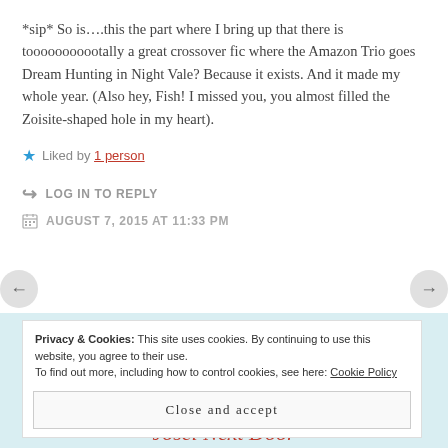*sip* So is….this the part where I bring up that there is tooooooooootally a great crossover fic where the Amazon Trio goes Dream Hunting in Night Vale? Because it exists. And it made my whole year. (Also hey, Fish! I missed you, you almost filled the Zoisite-shaped hole in my heart).
★ Liked by 1 person
LOG IN TO REPLY
AUGUST 7, 2015 AT 11:33 PM
Privacy & Cookies: This site uses cookies. By continuing to use this website, you agree to their use. To find out more, including how to control cookies, see here: Cookie Policy
Close and accept
Josei Next Door